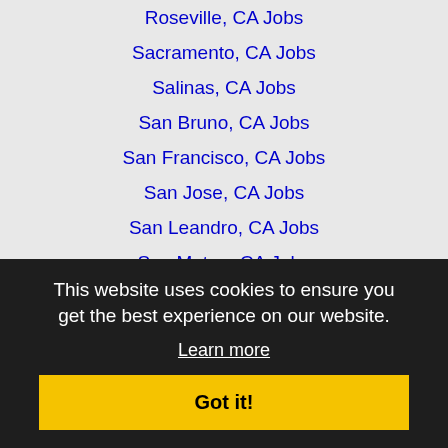Roseville, CA Jobs
Sacramento, CA Jobs
Salinas, CA Jobs
San Bruno, CA Jobs
San Francisco, CA Jobs
San Jose, CA Jobs
San Leandro, CA Jobs
San Mateo, CA Jobs
San Rafael, CA Jobs
San Ramon, CA Jobs
Santa Clara, CA Jobs
Santa Cruz, CA Jobs
Santa Rosa, CA Jobs
South San Francisco, CA Jobs
Stockton, CA Jobs
Sunnyvale, CA Jobs
Tracy, CA Jobs
Turlock, CA Jobs
This website uses cookies to ensure you get the best experience on our website. Learn more
Got it!